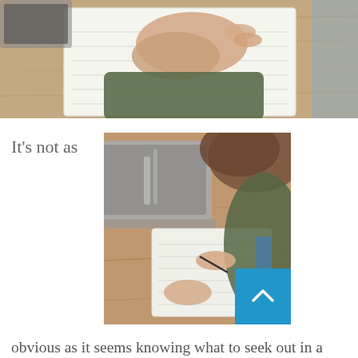[Figure (photo): Top-down view of a person's hands resting on an open notebook on a wooden desk, with a laptop partially visible at the top left.]
It's not as
[Figure (photo): Person writing in a notebook with a pen, a laptop open next to them on a wooden desk, viewed from above and slightly to the side. A blue scroll-to-top button overlays the bottom right of the image.]
obvious as it seems knowing what to seek out in a good laptop. New technology is prevalent in laptops, and you might not know a lot about them. Many people like you